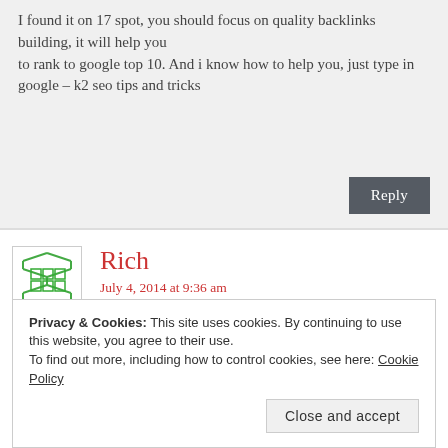I found it on 17 spot, you should focus on quality backlinks building, it will help you to rank to google top 10. And i know how to help you, just type in google – k2 seo tips and tricks
Reply
Rich
July 4, 2014 at 9:36 am
Privacy & Cookies: This site uses cookies. By continuing to use this website, you agree to their use. To find out more, including how to control cookies, see here: Cookie Policy
Close and accept